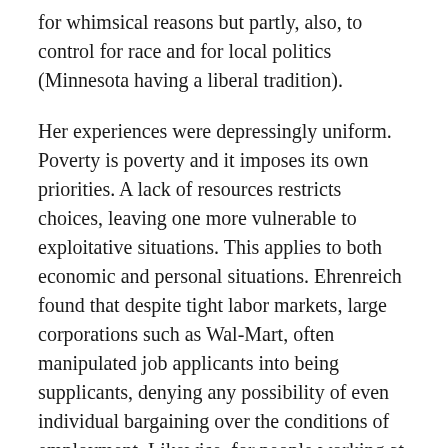for whimsical reasons but partly, also, to control for race and for local politics (Minnesota having a liberal tradition).
Her experiences were depressingly uniform. Poverty is poverty and it imposes its own priorities. A lack of resources restricts choices, leaving one more vulnerable to exploitative situations. This applies to both economic and personal situations. Ehrenreich found that despite tight labor markets, large corporations such as Wal-Mart, often manipulated job applicants into being supplicants, denying any possibility of even individual bargaining over the conditions of employment. Likewise, for people working at near the minimum wage, an informal support network of friends and family is often crucial to staying off the streets, but